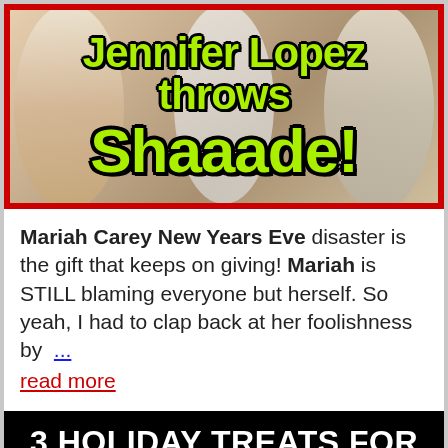[Figure (photo): Banner image with text overlay on red border background. Shows people in background with large green outlined text reading 'Jennifer Lopez throws Shaaade!' on red-bordered background.]
Mariah Carey New Years Eve disaster is the gift that keeps on giving! Mariah is STILL blaming everyone but herself. So yeah, I had to clap back at her foolishness by  ...  read more
[Figure (infographic): Black banner with bold white text reading '3 HOLIDAY TREATS FOR YOU!']